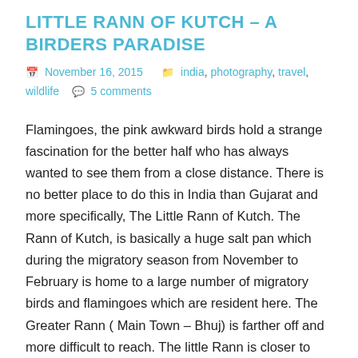LITTLE RANN OF KUTCH – A BIRDERS PARADISE
November 16, 2015   india, photography, travel, wildlife   5 comments
Flamingoes, the pink awkward birds hold a strange fascination for the better half who has always wanted to see them from a close distance. There is no better place to do this in India than Gujarat and more specifically, The Little Rann of Kutch. The Rann of Kutch, is basically a huge salt pan which during the migratory season from November to February is home to a large number of migratory birds and flamingoes which are resident here. The Greater Rann ( Main Town – Bhuj) is farther off and more difficult to reach. The little Rann is closer to civilisation and has the